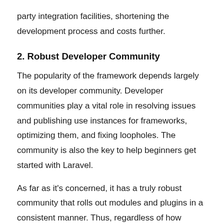party integration facilities, shortening the development process and costs further.
2. Robust Developer Community
The popularity of the framework depends largely on its developer community. Developer communities play a vital role in resolving issues and publishing use instances for frameworks, optimizing them, and fixing loopholes. The community is also the key to help beginners get started with Laravel.
As far as it's concerned, it has a truly robust community that rolls out modules and plugins in a consistent manner. Thus, regardless of how complex your company web project may be, you're just a click away from getting help from developers all over the world.